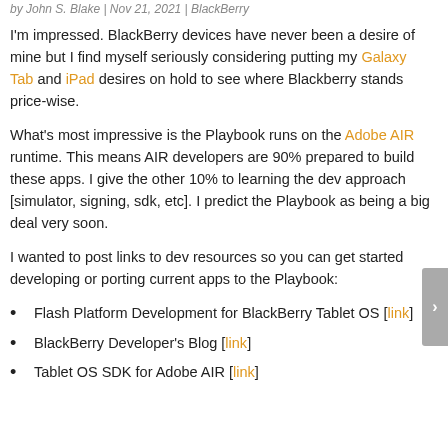by John S. Blake | Nov 21, 2021 | BlackBerry
I'm impressed. BlackBerry devices have never been a desire of mine but I find myself seriously considering putting my Galaxy Tab and iPad desires on hold to see where Blackberry stands price-wise.
What's most impressive is the Playbook runs on the Adobe AIR runtime. This means AIR developers are 90% prepared to build these apps. I give the other 10% to learning the dev approach [simulator, signing, sdk, etc]. I predict the Playbook as being a big deal very soon.
I wanted to post links to dev resources so you can get started developing or porting current apps to the Playbook:
Flash Platform Development for BlackBerry Tablet OS [link]
BlackBerry Developer's Blog [link]
Tablet OS SDK for Adobe AIR [link]